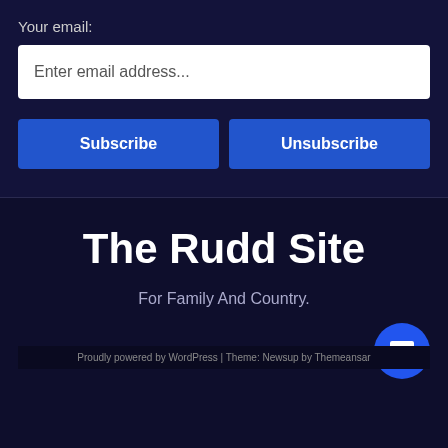Your email:
Enter email address...
Subscribe
Unsubscribe
The Rudd Site
For Family And Country.
Proudly powered by WordPress | Theme: Newsup by Themeansar